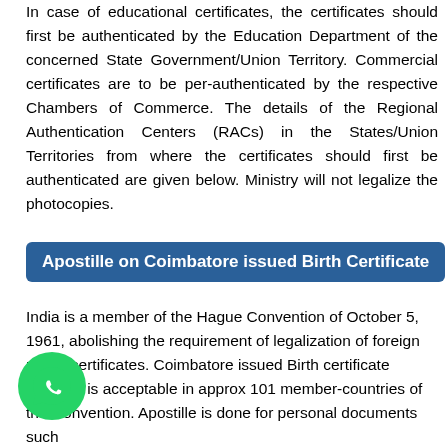In case of educational certificates, the certificates should first be authenticated by the Education Department of the concerned State Government/Union Territory. Commercial certificates are to be per-authenticated by the respective Chambers of Commerce. The details of the Regional Authentication Centers (RACs) in the States/Union Territories from where the certificates should first be authenticated are given below. Ministry will not legalize the photocopies.
Apostille on Coimbatore issued Birth Certificate
India is a member of the Hague Convention of October 5, 1961, abolishing the requirement of legalization of foreign public certificates. Coimbatore issued Birth certificate apostille is acceptable in approx 101 member-countries of the Convention. Apostille is done for personal documents such as birth/marriage/educational/degree/diploma/death/12th/10th certificate.
[Figure (illustration): WhatsApp icon — green circle with white phone handset]